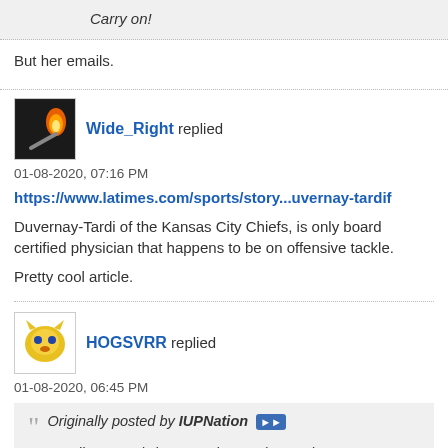Carry on!
But her emails.
Wide_Right replied
01-08-2020, 07:16 PM
https://www.latimes.com/sports/story...uvernay-tardif
Duvernay-Tardi of the Kansas City Chiefs, is only board certified physician that happens to be on offensive tackle.
Pretty cool article.
HOGSVRR replied
01-08-2020, 06:45 PM
Originally posted by IUPNation
You really are an iDiot. Your thug took out Ginger Jesus on his 9th play on offense. What ****ing moron tries to spin it